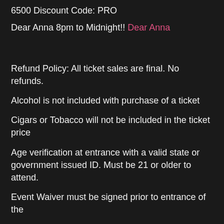6500 Discount Code: PRO
Dear Anna 8pm to Midnight!! Dear Anna
Refund Policy: All ticket sales are final. No refunds.
Alcohol is not included with purchase of a ticket
Cigars or Tobacco will not be included in the ticket price
Age verification at entrance with a valid state or government issued ID. Must be 21 or older to attend.
Event Waiver must be signed prior to entrance of the